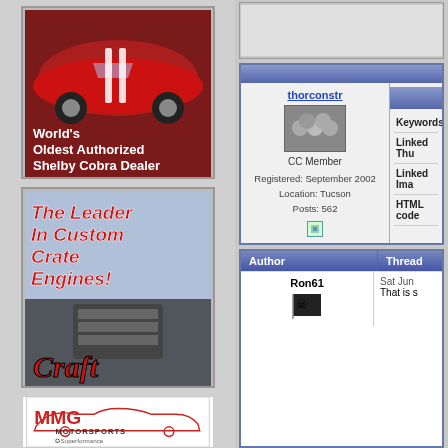[Figure (photo): Advertisement for World's Oldest Authorized Shelby Cobra Dealer showing red Shelby Cobra car]
[Figure (photo): Advertisement for Craft Performance Engines - The Leader In Custom Crate Engines]
[Figure (photo): MMG Motorsports advertisement with Superformance branding]
[Figure (screenshot): Forum profile section for user thorconstr, CC Member, Registered September 2002, Location Tucson, Posts 562, with keywords and linked thumbnail fields]
| Author | Thread |
| --- | --- |
| Ron61 | Sat Jun... / That is s... |
thorconstr
CC Member
Registered: September 2002
Location: Tucson
Posts: 562
Keywords:
Linked Thu
Linked Ima
HTML code